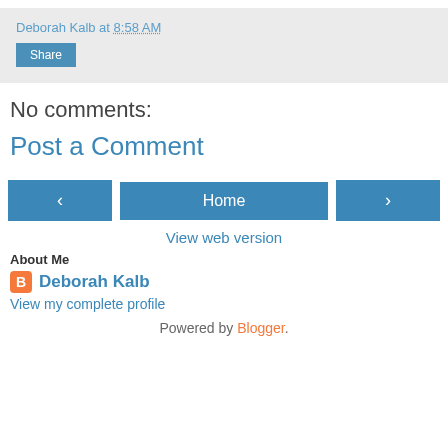Deborah Kalb at 8:58 AM
Share
No comments:
Post a Comment
< Home >
View web version
About Me
Deborah Kalb
View my complete profile
Powered by Blogger.